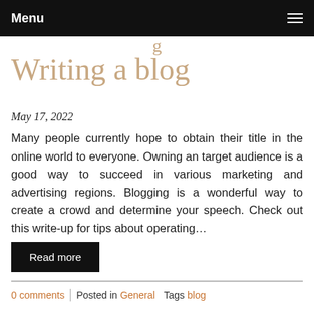Menu
Writing a blog
May 17, 2022
Many people currently hope to obtain their title in the online world to everyone. Owning an target audience is a good way to succeed in various marketing and advertising regions. Blogging is a wonderful way to create a crowd and determine your speech. Check out this write-up for tips about operating…
Read more
0 comments | Posted in General  Tags blog